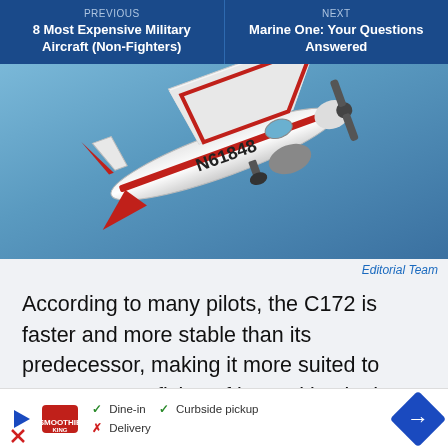PREVIOUS
8 Most Expensive Military Aircraft (Non-Fighters)
NEXT
Marine One: Your Questions Answered
[Figure (photo): Red and white Cessna C172 aircraft with tail number N61848 in flight against a blue sky, viewed from below at an angle]
Editorial Team
According to many pilots, the C172 is faster and more stable than its predecessor, making it more suited to cross-country flying. If its position in the air is disturbed by turbulence or an accidental touch of the controls, it has a strong tendency to return
[Figure (infographic): Advertisement bar: Smoothie King logo with play icon. Checkmarks for Dine-in and Curbside pickup, X for Delivery. Blue diamond navigation arrow icon on right.]